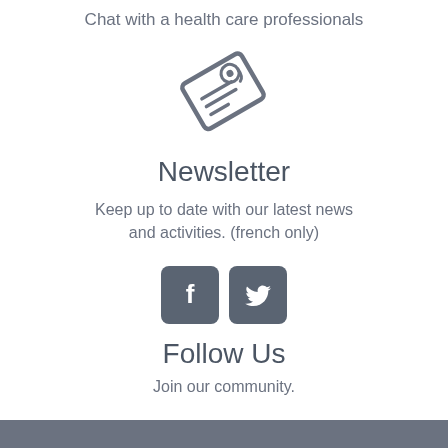Chat with a health care professionals
[Figure (illustration): Newsletter envelope/email icon in gray outline style, tilted at an angle]
Newsletter
Keep up to date with our latest news and activities. (french only)
[Figure (illustration): Facebook and Twitter social media icon buttons with gray rounded square backgrounds]
Follow Us
Join our community.